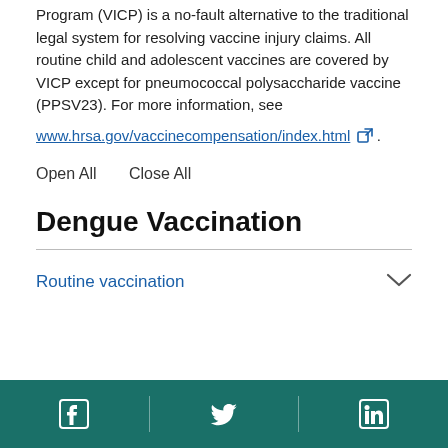Program (VICP) is a no-fault alternative to the traditional legal system for resolving vaccine injury claims. All routine child and adolescent vaccines are covered by VICP except for pneumococcal polysaccharide vaccine (PPSV23). For more information, see www.hrsa.gov/vaccinecompensation/index.html .
Open All   Close All
Dengue Vaccination
Routine vaccination